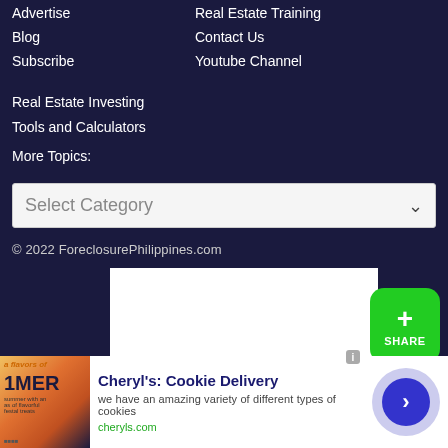Advertise
Real Estate Training
Blog
Contact Us
Subscribe
Youtube Channel
Real Estate Investing
Tools and Calculators
More Topics:
Select Category
© 2022 ForeclosurePhilippines.com
[Figure (other): White advertisement placeholder box]
[Figure (other): Green share button with plus icon and SHARE label]
[Figure (other): Advertisement banner: Cheryl's Cookie Delivery - we have an amazing variety of different types of cookies - cheryls.com]